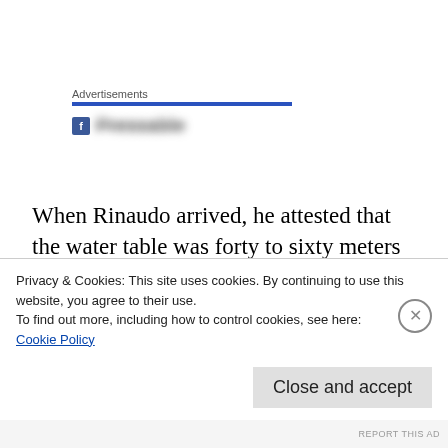Advertisements
[Figure (other): Pressable logo/link with blurred text]
When Rinaudo arrived, he attested that the water table was forty to sixty meters deep.[10] Rinaudo was familiar with the work of Richard St. Barbe Baker who wrote in his book Land of Tane (1954) “When the trees go, the rain goes,
Privacy & Cookies: This site uses cookies. By continuing to use this website, you agree to their use.
To find out more, including how to control cookies, see here:
Cookie Policy
REPORT THIS AD